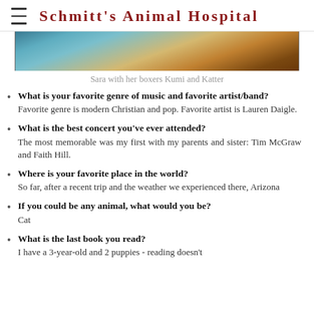Schmitt's Animal Hospital
[Figure (photo): Partial photo of Sara with her boxers Kumi and Katter, cropped at top]
Sara with her boxers Kumi and Katter
What is your favorite genre of music and favorite artist/band? Favorite genre is modern Christian and pop. Favorite artist is Lauren Daigle.
What is the best concert you've ever attended? The most memorable was my first with my parents and sister: Tim McGraw and Faith Hill.
Where is your favorite place in the world? So far, after a recent trip and the weather we experienced there, Arizona
If you could be any animal, what would you be? Cat
What is the last book you read? I have a 3-year-old and 2 puppies - reading doesn't